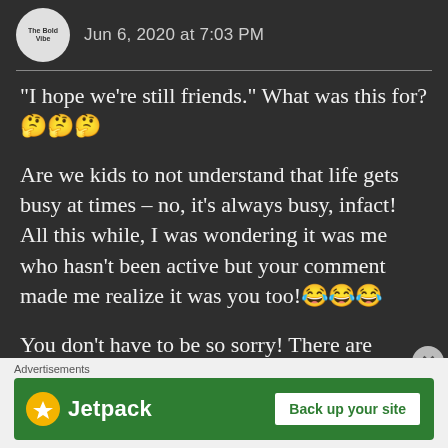Jun 6, 2020 at 7:03 PM
“I hope we’re still friends.” What was this for?🤔🤔🤔
Are we kids to not understand that life gets busy at times – no, it’s always busy, infact! All this while, I was wondering it was me who hasn’t been active but your comment made me realize it was you too!😂😂😂
You don’t have to be so sorry! There are comments lying in
Advertisements
[Figure (screenshot): Jetpack advertisement banner with green background showing Jetpack logo and 'Back up your site' button]